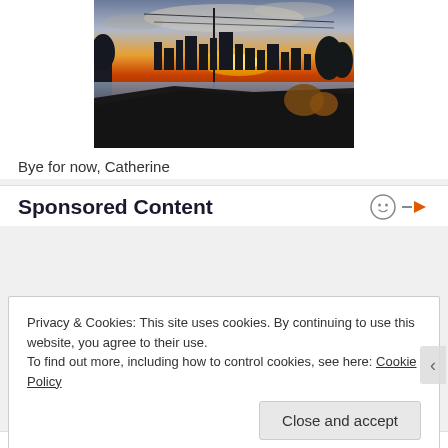[Figure (photo): City skyline at sunset with dramatic orange sky, silhouetted buildings, a utility pole, trees, and rooftops in the foreground. Water visible in the middle ground.]
Bye for now, Catherine
Sponsored Content
Privacy & Cookies: This site uses cookies. By continuing to use this website, you agree to their use.
To find out more, including how to control cookies, see here: Cookie Policy
Close and accept